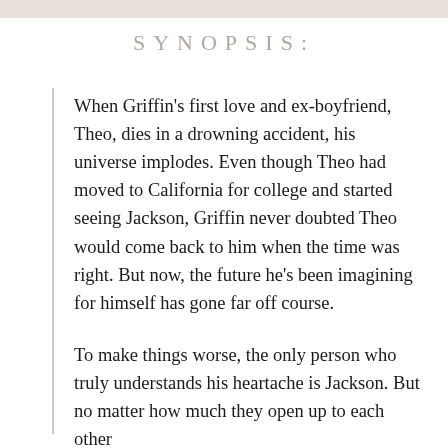SYNOPSIS:
When Griffin's first love and ex-boyfriend, Theo, dies in a drowning accident, his universe implodes. Even though Theo had moved to California for college and started seeing Jackson, Griffin never doubted Theo would come back to him when the time was right. But now, the future he's been imagining for himself has gone far off course.
To make things worse, the only person who truly understands his heartache is Jackson. But no matter how much they open up to each other